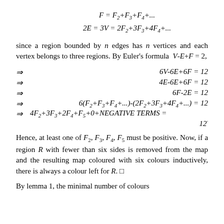since a region bounded by n edges has n vertices and each vertex belongs to three regions. By Euler's formula V-E+F = 2,
Hence, at least one of F2, F3, F4, F5 must be positive. Now, if a region R with fewer than six sides is removed from the map and the resulting map coloured with six colours inductively, there is always a colour left for R. □
By lemma 1, the minimal number of colours